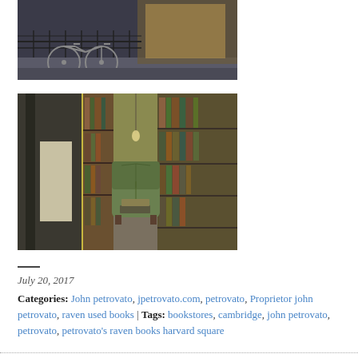[Figure (photo): Black and white photo of bicycles parked in front of a bookstore with a metal railing, warm interior lights visible through the window]
[Figure (photo): Interior of a used bookstore with tall wooden shelves full of books, a green tufted armchair in the center aisle, warm yellow-green lighting, books stacked on chair]
—
July 20, 2017
Categories: John petrovato, jpetrovato.com, petrovato, Proprietor john petrovato, raven used books | Tags: bookstores, cambridge, john petrovato, petrovato, petrovato's raven books harvard square